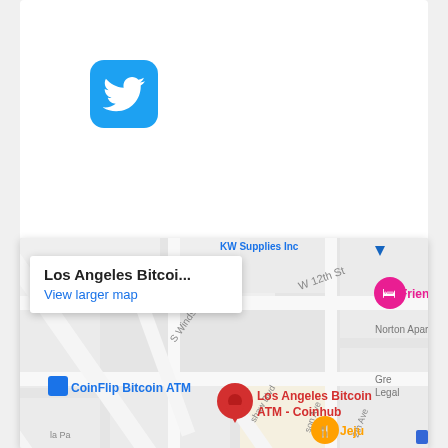[Figure (logo): Twitter bird logo icon on blue rounded square background]
[Figure (map): Google Maps screenshot showing Los Angeles Bitcoin ATM - Coinhub location near S Windsor Blvd and W 12th St, with a red map pin marker, a CoinFlip Bitcoin ATM marker, Friends hotel marker in pink, and a Jeju restaurant marker. A popup shows 'Los Angeles Bitcoi...' and 'View larger map' link. Street labels include W 12th St, S Windsor Blvd, Norton Apartments, Gre Legal, and La Pa, shaw Blvd, son Ave, 2th Ave.]